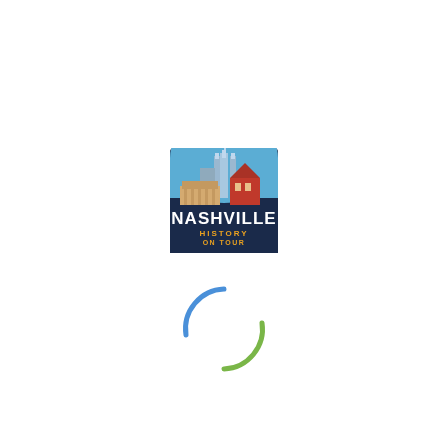[Figure (logo): Nashville History on Tour logo — semicircular badge with dark navy background, showing Nashville skyline including the AT&T Batman building and other skyscrapers, a red barn-like building, and classical facade. Bold white text reads NASHVILLE with HISTORY ON TOUR below in smaller text.]
[Figure (logo): Circular loading/spinner style logo made of two curved arc strokes — one blue arc on the upper-left portion and one green arc on the lower-right portion, together forming an incomplete circle/spinner graphic.]